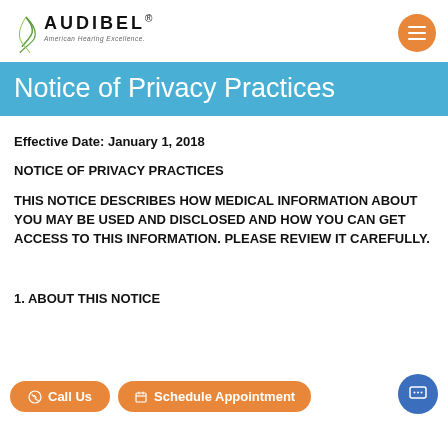Audibel — American Hearing Excellence. [Navigation menu button]
Notice of Privacy Practices
Effective Date: January 1, 2018
NOTICE OF PRIVACY PRACTICES
THIS NOTICE DESCRIBES HOW MEDICAL INFORMATION ABOUT YOU MAY BE USED AND DISCLOSED AND HOW YOU CAN GET ACCESS TO THIS INFORMATION. PLEASE REVIEW IT CAREFULLY.
1. ABOUT THIS NOTICE